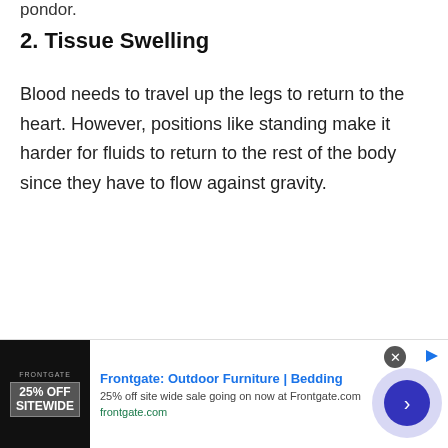pondor.
2. Tissue Swelling
Blood needs to travel up the legs to return to the heart. However, positions like standing make it harder for fluids to return to the rest of the body since they have to flow against gravity.
[Figure (other): Advertisement banner for Frontgate: Outdoor Furniture and Bedding, showing 25% off sitewide sale, with a dark promotional image on the left and a navigation arrow on the right.]